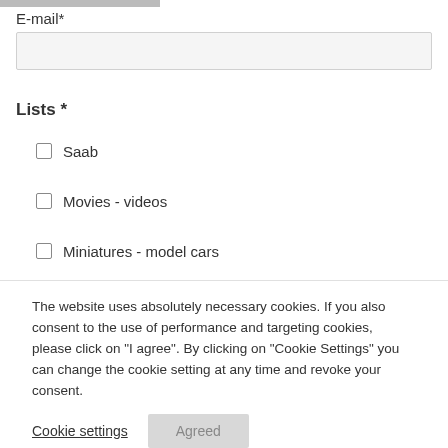E-mail*
Lists *
Saab
Movies - videos
Miniatures - model cars
The website uses absolutely necessary cookies. If you also consent to the use of performance and targeting cookies, please click on "I agree". By clicking on "Cookie Settings" you can change the cookie setting at any time and revoke your consent.
Cookie settings
Agreed